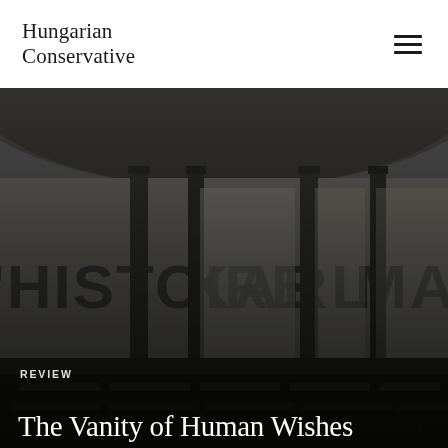Hungarian Conservative
[Figure (photo): Black and white photograph of an interior hall or library with tall columns and large text on the walls reading 'HISTOIRE', 'KARL', 'MARX'. Rows of wooden desks and chairs are visible in the foreground. The space has a curved ceiling and arched windows.]
REVIEW
The Vanity of Human Wishes